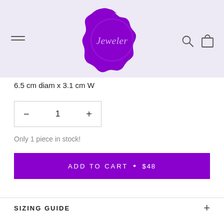[Figure (logo): Jeweler brand logo: purple wax seal stamp with cursive 'Jeweler' text on a lavender/light purple header background, with hamburger menu icon on the left and search + bag icons on the right]
6.5 cm diam x 3.1 cm W
— 1 +
Only 1 piece in stock!
ADD TO CART • $48
SIZING GUIDE